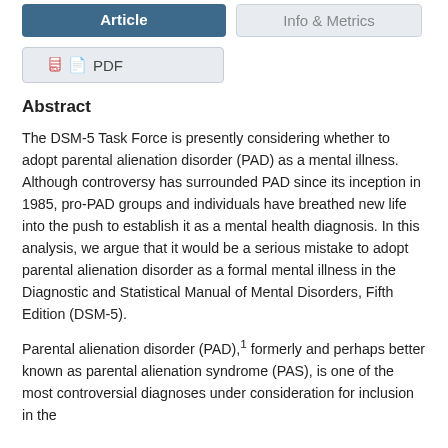[Figure (screenshot): Navigation tab buttons: 'Article' (active, dark blue) and 'Info & Metrics' (inactive, light grey)]
[Figure (screenshot): PDF download button with red PDF icon]
Abstract
The DSM-5 Task Force is presently considering whether to adopt parental alienation disorder (PAD) as a mental illness. Although controversy has surrounded PAD since its inception in 1985, pro-PAD groups and individuals have breathed new life into the push to establish it as a mental health diagnosis. In this analysis, we argue that it would be a serious mistake to adopt parental alienation disorder as a formal mental illness in the Diagnostic and Statistical Manual of Mental Disorders, Fifth Edition (DSM-5).
Parental alienation disorder (PAD),1 formerly and perhaps better known as parental alienation syndrome (PAS), is one of the most controversial diagnoses under consideration for inclusion in the